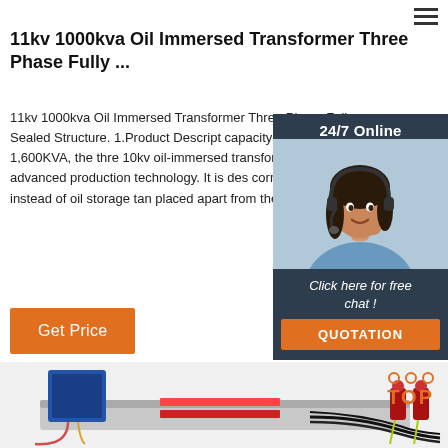11kv 1000kva Oil Immersed Transformer Three Phase Fully ...
11kv 1000kva Oil Immersed Transformer Three Phase Fully Sealed Structure. 1.Product Description: capacity from 30KVA to 1,600KVA, the three 10kv oil-immersed transformer is made u advanced production technology. It is des corrugated plate instead of oil storage tan placed apart from the outside world.
[Figure (photo): Customer service representative with headset, 24/7 Online chat panel with QUOTATION button]
[Figure (photo): Industrial electrical switchgear or transformer equipment, blue control panel on left with wiring, red insulators on right]
[Figure (logo): TOP logo with orange dotted arc above the text TOP in orange]